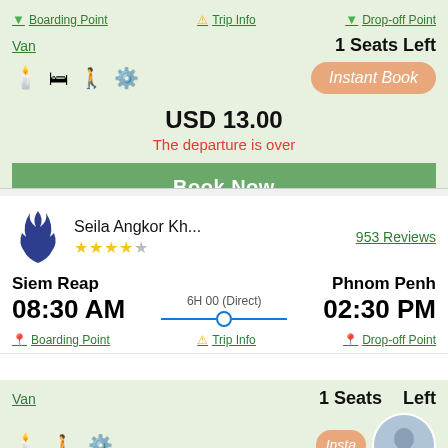Boarding Point
Trip Info
Drop-off Point
Van
1 Seats Left
Instant Book
USD 13.00
The departure is over
Book Now
Seila Angkor Kh...
953 Reviews
Siem Reap
Phnom Penh
08:30 AM
6H 00 (Direct)
02:30 PM
Boarding Point
Trip Info
Drop-off Point
Van
1 Seats Left
Insta...
USD 12.50